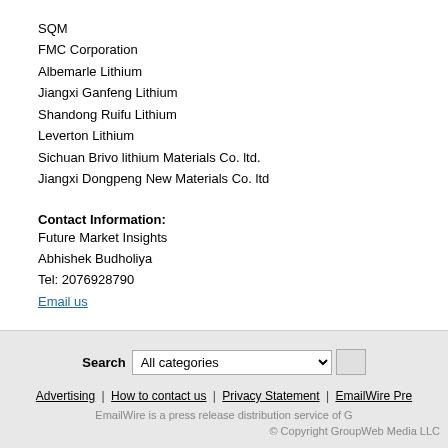SQM
FMC Corporation
Albemarle Lithium
Jiangxi Ganfeng Lithium
Shandong Ruifu Lithium
Leverton Lithium
Sichuan Brivo lithium Materials Co. ltd.
Jiangxi Dongpeng New Materials Co. ltd
Contact Information:
Future Market Insights
Abhishek Budholiya
Tel: 2076928790
Email us
----
This press release is posted on EmailWire.com -- a global newswire that provides Press Release Distribution Services with Guaranteed Results
Search  All categories
Advertising | How to contact us | Privacy Statement | EmailWire Pre...
EmailWire is a press release distribution service of G...
© Copyright GroupWeb Media LLC